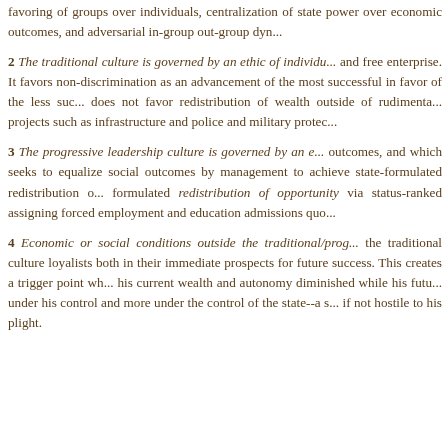favoring of groups over individuals, centralization of state power over economic outcomes, and adversarial in-group out-group dynamics.
2 The traditional culture is governed by an ethic of individualism and free enterprise. It favors non-discrimination as an advancement of the most successful in favor of the less successful; does not favor redistribution of wealth outside of rudimentary projects such as infrastructure and police and military protection.
3 The progressive leadership culture is governed by an ethic of outcomes, and which seeks to equalize social outcomes by using management to achieve state-formulated redistribution of wealth, formulated redistribution of opportunity via status-ranked assigning forced employment and education admissions quotas.
4 Economic or social conditions outside the traditional/progressive spectrum disadvantage the traditional culture loyalists both in their immediate economic circumstances and prospects for future success. This creates a trigger point where the loyalist perceives his current wealth and autonomy diminished while his future prospects are less under his control and more under the control of the state--a state which is indifferent if not hostile to his plight.